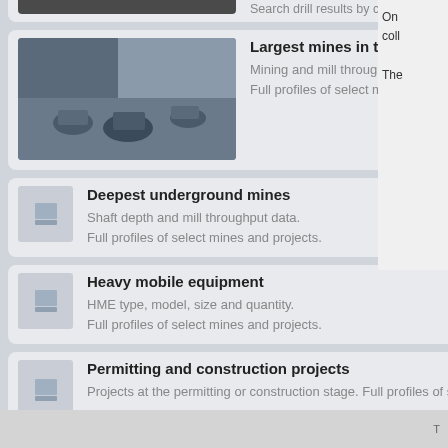Search drill results by commodity and grade.
Largest mines in the Americas
Mining and mill throughput capacites.
Full profiles of select mines and projects.
Deepest underground mines
Shaft depth and mill throughput data.
Full profiles of select mines and projects.
Heavy mobile equipment
HME type, model, size and quantity.
Full profiles of select mines and projects.
Permitting and construction projects
Projects at the permitting or construction stage. Full profiles of select projects.
Mines with remote camps
Camp size, mine location and contacts.
Full profiles of select mines and projects.
Mines & projects in United States
A list of country's mines and projects.
Full profiles of select mines and projects.
On
coll
The
T